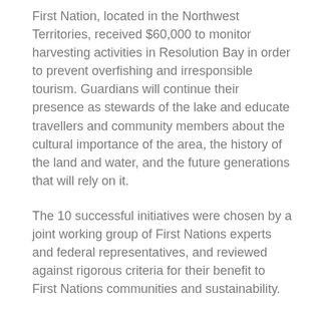First Nation, located in the Northwest Territories, received $60,000 to monitor harvesting activities in Resolution Bay in order to prevent overfishing and irresponsible tourism. Guardians will continue their presence as stewards of the lake and educate travellers and community members about the cultural importance of the area, the history of the land and water, and the future generations that will rely on it.
The 10 successful initiatives were chosen by a joint working group of First Nations experts and federal representatives, and reviewed against rigorous criteria for their benefit to First Nations communities and sustainability.
The Government of Canada is committed to supporting Indigenous leadership in conservation to help protect ecosystems, species and cultures for future